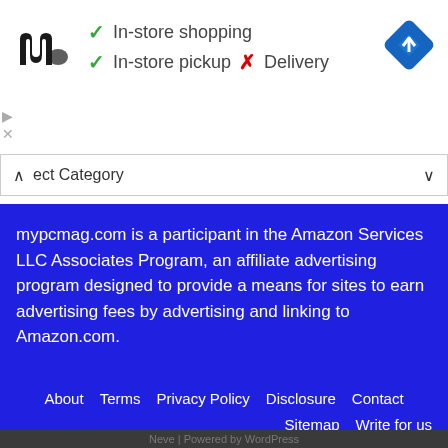[Figure (logo): Under Armour logo - black stylized UA mark]
✓ In-store shopping
✓ In-store pickup  ✗ Delivery
[Figure (logo): Blue diamond navigation/directions icon]
ect Category
mypcmag.com is a participant in the Amazon Services LLC Associates Program, an affiliate advertising program designed to provide a means for sites to earn advertising fees by advertising and linking to Amazon.com.
About  Terms  Privacy Policy  Disclosure  Contact  Sitemap  Write for us
Neve | Powered by WordPress